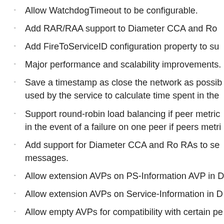Allow WatchdogTimeout to be configurable.
Add RAR/RAA support to Diameter CCA and Ro
Add FireToServiceID configuration property to su
Major performance and scalability improvements.
Save a timestamp as close the network as possib used by the service to calculate time spent in the
Support round-robin load balancing if peer metric in the event of a failure on one peer if peers metri
Add support for Diameter CCA and Ro RAs to se messages.
Allow extension AVPs on PS-Information AVP in D
Allow extension AVPs on Service-Information in D
Allow empty AVPs for compatibility with certain pe